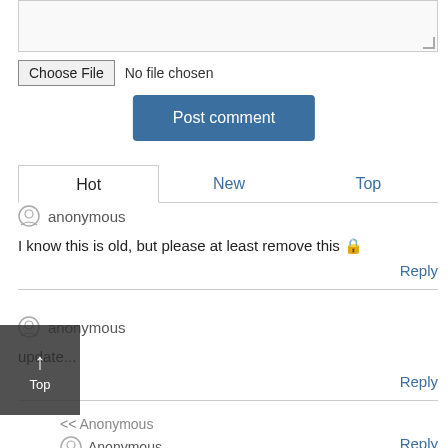[Figure (screenshot): Textarea input box (empty, resizable)]
Choose File  No file chosen
Post comment
Hot  New  Top
anonymous
I know this is old, but please at least remove this 🔒
Reply
anonymous
update...
Reply
<< Anonymous
Anonymous
Reply